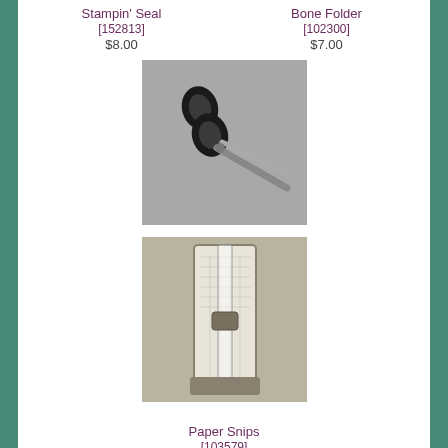Stampin' Seal
[152813]
$8.00
Bone Folder
[102300]
$7.00
[Figure (photo): Black handled scissors (Paper Snips) on gray background]
Paper Snips
[103579]
$10.00
[Figure (photo): Paper Trimmer with grid cutting mat and sliding blade on tan background]
Paper Trimmer
[152392]
$25.00
[Figure (photo): Stamping mat with grid paper and black mat pieces on white background]
[Figure (photo): Set of clear acrylic stamping blocks of various sizes on gray background]